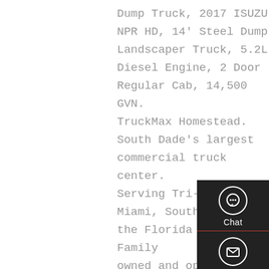Dump Truck, 2017 ISUZU NPR HD, 14' Steel Dump Landscaper Truck, 5.2L Diesel Engine, 2 Door Regular Cab, 14,500 GVN. TruckMax Homestead. South Dade's largest commercial truck center. Serving Tri-County, Miami, South Dade and the Florida Keys. Family owned and operated for over 40 years. Over 100 new and used trucks and equipment.
[Figure (infographic): Sidebar navigation panel with Chat, Email, Contact, and Top buttons on dark background with white icons and red dividers]